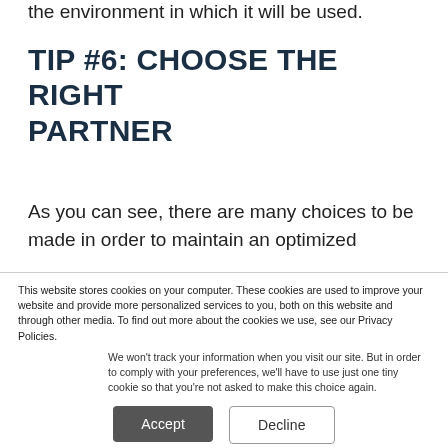the environment in which it will be used.
TIP #6: CHOOSE THE RIGHT PARTNER
As you can see, there are many choices to be made in order to maintain an optimized
This website stores cookies on your computer. These cookies are used to improve your website and provide more personalized services to you, both on this website and through other media. To find out more about the cookies we use, see our Privacy Policies.
We won't track your information when you visit our site. But in order to comply with your preferences, we'll have to use just one tiny cookie so that you're not asked to make this choice again.
Accept
Decline